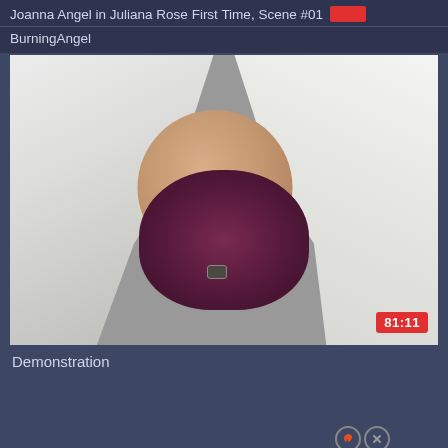Joanna Angel in Juliana Rose First Time, Scene #01 — BurningAngel
[Figure (screenshot): Video thumbnail showing a person in an open white button-up shirt revealing a dark burgundy bra, close-up view. Duration badge showing 81:11 in bottom-right corner.]
Demonstration
[Figure (other): Small icon group with fire icon and X icon circles at bottom right of dark blue-grey background area]